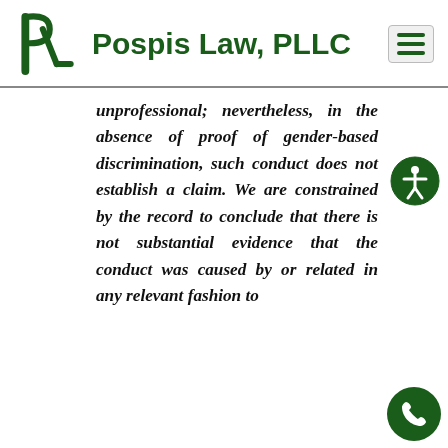Pospis Law, PLLC
unprofessional; nevertheless, in the absence of proof of gender-based discrimination, such conduct does not establish a claim. We are constrained by the record to conclude that there is not substantial evidence that the conduct was caused by or related in any relevant fashion to